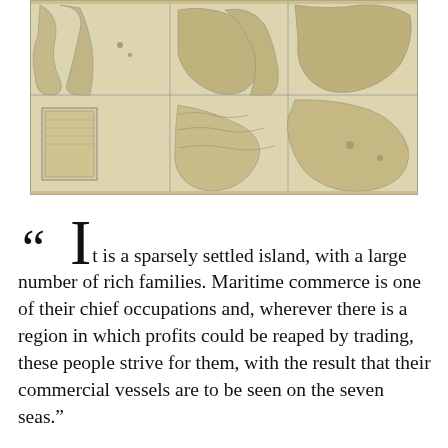[Figure (map): An antique world map rendered in sepia/brown ink showing continents with decorative cartographic style, divided into grid panels, appearing to be a historic 16th or 17th century style world map.]
“It is a sparsely settled island, with a large number of rich families. Maritime commerce is one of their chief occupations and, wherever there is a region in which profits could be reaped by trading, these people strive for them, with the result that their commercial vessels are to be seen on the seven seas.”